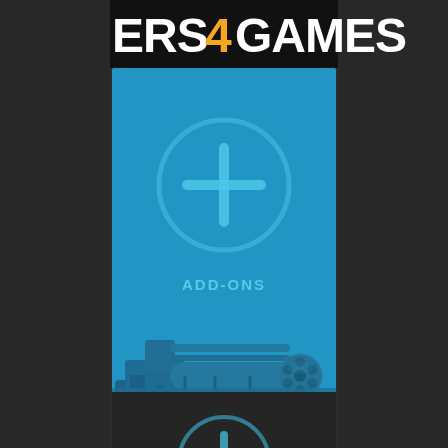[Figure (screenshot): ERS4GAMES website/app screenshot. Top black bar with white bold text 'ERS4GAMES' with orange '4'. Below is a blue card/panel featuring a large '+' icon in a circle at top center, the text 'ADD-ONS' in the middle, and a minigun/gatling gun weapon image in the lower portion. Dark grey sidebar panels flank both sides. A second partial card with blue circle is partially visible at the bottom.]